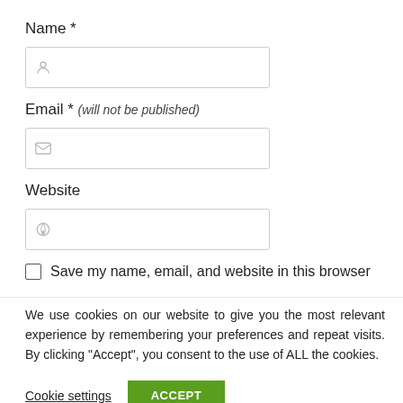Name *
[Figure (other): Text input field with person icon placeholder for Name]
Email * (will not be published)
[Figure (other): Text input field with email/envelope icon placeholder for Email]
Website
[Figure (other): Text input field with globe/map-pin icon placeholder for Website]
Save my name, email, and website in this browser
We use cookies on our website to give you the most relevant experience by remembering your preferences and repeat visits. By clicking “Accept”, you consent to the use of ALL the cookies.
Cookie settings
ACCEPT